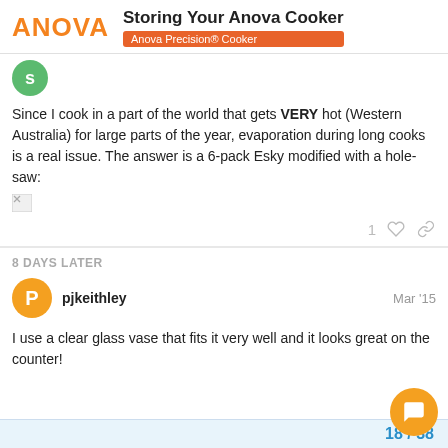Storing Your Anova Cooker — Anova Precision® Cooker
Since I cook in a part of the world that gets VERY hot (Western Australia) for large parts of the year, evaporation during long cooks is a real issue. The answer is a 6-pack Esky modified with a hole-saw:
[Figure (photo): Broken image placeholder]
8 DAYS LATER
pjkeithley — Mar '15
I use a clear glass vase that fits it very well and it looks great on the counter!
18 / 38